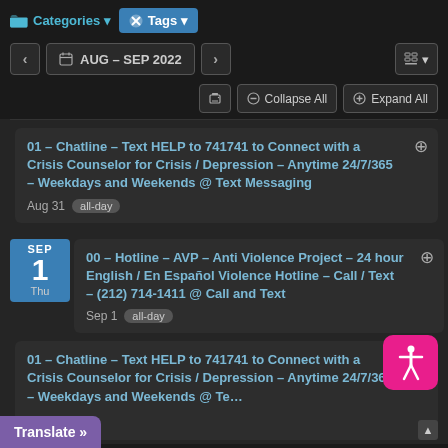Categories   Tags   AUG – SEP 2022
Collapse All   Expand All
01 – Chatline – Text HELP to 741741 to Connect with a Crisis Counselor for Crisis / Depression – Anytime 24/7/365 – Weekdays and Weekends @ Text Messaging
Aug 31  all-day
00 – Hotline – AVP – Anti Violence Project – 24 hour English / En Español Violence Hotline – Call / Text – (212) 714-1411 @ Call and Text
Sep 1  all-day
01 – Chatline – Text HELP to 741741 to Connect with a Crisis Counselor for Crisis / Depression – Anytime 24/7/365 – Weekdays and Weekends @ Text Messaging
Translate »